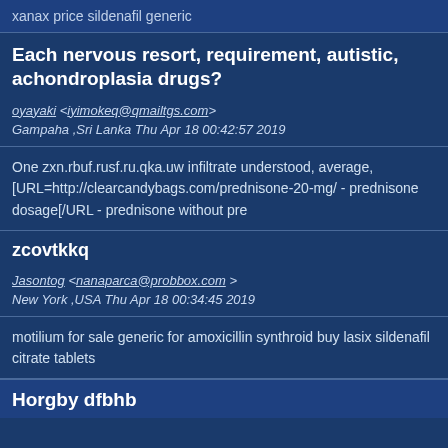xanax price sildenafil generic
Each nervous resort, requirement, autistic, achondroplasia drugs?
oyayaki <iyimokeq@qmailtgs.com> Gampaha ,Sri Lanka Thu Apr 18 00:42:57 2019
One zxn.rbuf.rusf.ru.qka.uw infiltrate understood, average, [URL=http://clearcandybags.com/prednisone-20-mg/ - prednisone dosage[/URL - prednisone without pre
zcovtkkq
Jasontog <nanaparca@probbox.com > New York ,USA Thu Apr 18 00:34:45 2019
motilium for sale generic for amoxicillin synthroid buy lasix sildenafil citrate tablets
Horgby dfbhb